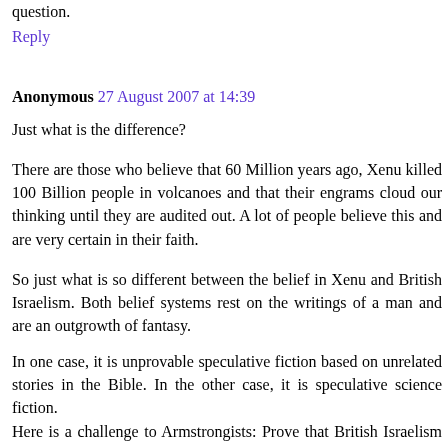question.
Reply
Anonymous 27 August 2007 at 14:39
Just what is the difference?
There are those who believe that 60 Million years ago, Xenu killed 100 Billion people in volcanoes and that their engrams cloud our thinking until they are audited out. A lot of people believe this and are very certain in their faith.
So just what is so different between the belief in Xenu and British Israelism. Both belief systems rest on the writings of a man and are an outgrowth of fantasy.
In one case, it is unprovable speculative fiction based on unrelated stories in the Bible. In the other case, it is speculative science fiction.
Here is a challenge to Armstrongists: Prove that British Israelism is superior to Scientology to the satisfaction of